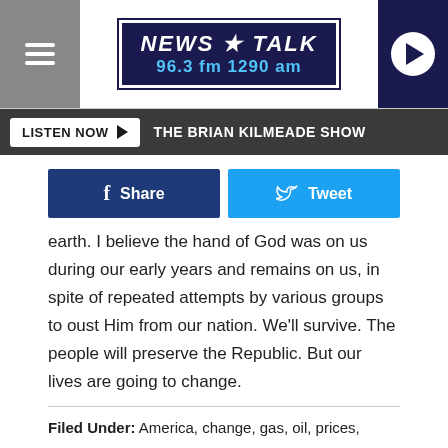NEWS TALK 96.3 fm 1290 am
LISTEN NOW  THE BRIAN KILMEADE SHOW
[Figure (other): Facebook Share button and Twitter Tweet button]
earth.  I believe the hand of God was on us during our early years and remains on us, in spite of repeated attempts by various groups to oust Him from our nation.  We'll survive.  The people will preserve the Republic.   But our lives are going to change.
Filed Under: America, change, gas, oil, prices, republic, US
Categories: National News, Wichita Falls News
Comments
LEAVE A COMMENT